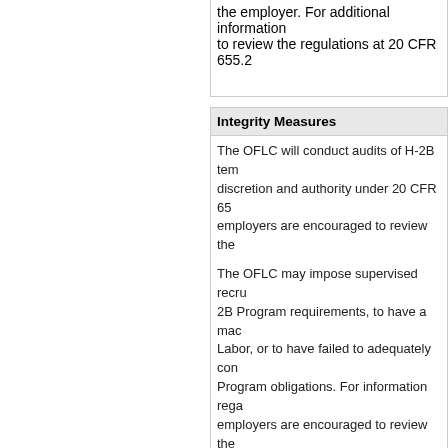the employer. For additional information to review the regulations at 20 CFR 655.2
Integrity Measures
The OFLC will conduct audits of H-2B tem discretion and authority under 20 CFR 65 employers are encouraged to review the
The OFLC may impose supervised recru 2B Program requirements, to have a mac Labor, or to have failed to adequately con Program obligations. For information rega employers are encouraged to review the employer from the H-2B program if it is d material term or condition of its temporary agent or attorney if it is determined that th or had reason to know of, the employer's 2B debarment process, employers are en
Forms & Instructions
ETA Form 9142B